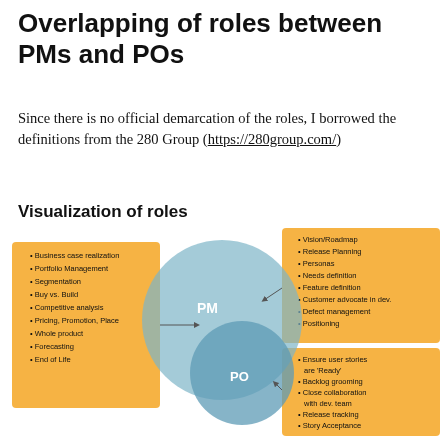Overlapping of roles between PMs and POs
Since there is no official demarcation of the roles, I borrowed the definitions from the 280 Group (https://280group.com/)
Visualization of roles
[Figure (infographic): Venn diagram showing overlapping circles for PM (large) and PO (smaller, overlapping). Left orange box lists PM-only responsibilities: Business case realization, Portfolio Management, Segmentation, Buy vs. Build, Competitive analysis, Pricing Promotion Place, Whole product, Forecasting, End of Life. Top-right orange box lists shared/PO responsibilities: Vision/Roadmap, Release Planning, Personas, Needs definition, Feature definition, Customer advocate in dev., Defect management, Positioning. Bottom-right orange box lists PO responsibilities: Ensure user stories are 'Ready', Backlog grooming, Close collaboration with dev. team, Release tracking, Story Acceptance.]